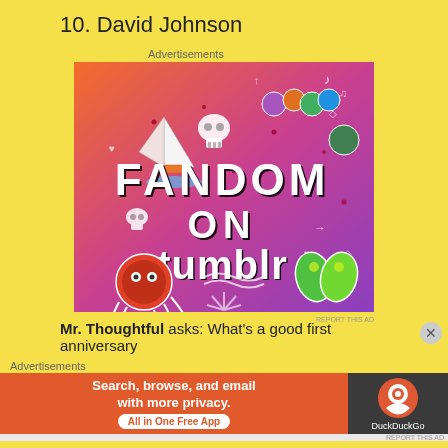10. David Johnson
Advertisements
[Figure (illustration): Fandom on Tumblr advertisement banner with colorful gradient background (orange to purple) featuring illustrated icons (sailboat, skull, octopus, leaves, gems) and bold text reading FANDOM ON tumblr]
Mr. Thoughtful asks: What’s a good first anniversary
Advertisements
[Figure (illustration): DuckDuckGo advertisement: Search, browse, and email with more privacy. All in One Free App - showing DuckDuckGo logo on dark background]